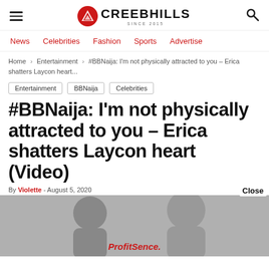CREEBHILLS SINCE 2015
News  Celebrities  Fashion  Sports  Advertise
Home > Entertainment > #BBNaija: I'm not physically attracted to you – Erica shatters Laycon heart...
Entertainment
BBNaija
Celebrities
#BBNaija: I'm not physically attracted to you – Erica shatters Laycon heart (Video)
By Violette  August 5, 2020
[Figure (photo): Photo of people, partially visible, dark/grey toned image with ProfitSence. text overlay at bottom center]